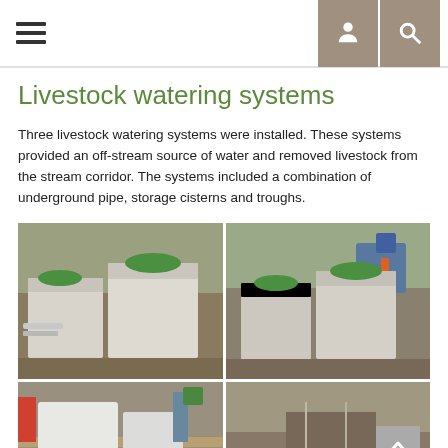Navigation header with hamburger menu, user icon, and search icon
Livestock watering systems
Three livestock watering systems were installed. These systems provided an off-stream source of water and removed livestock from the stream corridor. The systems included a combination of underground pipe, storage cisterns and troughs.
[Figure (photo): Two white rectangular storage cisterns with green circular lids sitting on bare ground, with pipe fittings visible on the left cistern]
[Figure (photo): Two white rectangular storage cisterns with green lids being placed with machinery visible in background]
[Figure (photo): White cistern components laid out on wooden planks with workers and equipment visible]
[Figure (photo): Installation site showing dirt trench or ground preparation with equipment and a red container visible]